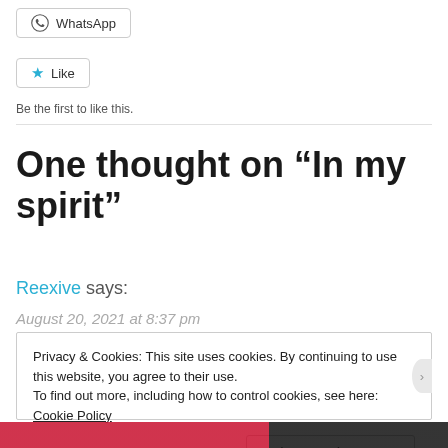[Figure (other): WhatsApp share button with WhatsApp icon]
[Figure (other): Like button with blue star icon]
Be the first to like this.
One thought on “In my spirit”
Reexive says:
August 20, 2021 at 8:37 pm
Privacy & Cookies: This site uses cookies. By continuing to use this website, you agree to their use.
To find out more, including how to control cookies, see here: Cookie Policy
Close and accept